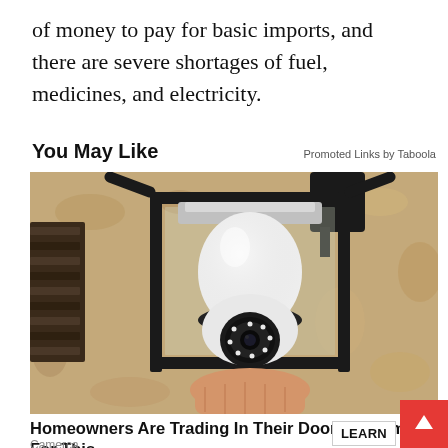of money to pay for basic imports, and there are severe shortages of fuel, medicines, and electricity.
You May Like
Promoted Links by Taboola
[Figure (photo): A person's hand installing a white security camera shaped like a light bulb into an outdoor black lantern fixture mounted on a textured beige stucco wall]
Homeowners Are Trading In Their Doorbell Cams For This
Camerca
LEARN